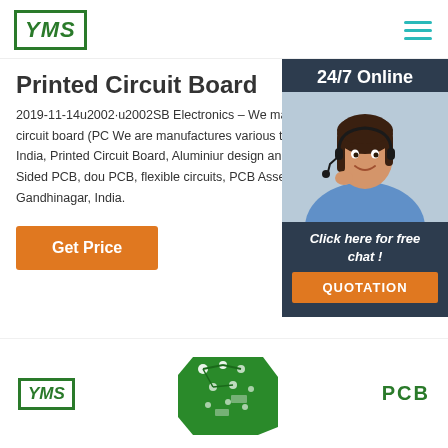[Figure (logo): YMS logo in green rectangle border with italic bold text]
[Figure (illustration): Hamburger menu icon with three teal horizontal lines]
Printed Circuit Board
2019-11-14u2002·u2002SB Electronics – We manufacturers of Printed circuit board (PC We are manufactures various type of PCB I PCB India, Printed Circuit Board, Aluminiur design and art work, Single Sided PCB, dou PCB, flexible circuits, PCB Assembly, PCB Gandhinagar, India.
[Figure (illustration): 24/7 Online banner with customer service representative woman wearing headset, and Click here for free chat! text with QUOTATION orange button below]
[Figure (logo): YMS logo small at bottom left]
[Figure (illustration): Green PCB circuit board shape in bottom center]
PCB